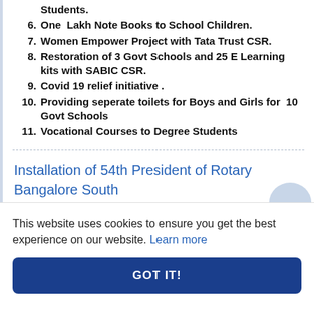Students.
6. One Lakh Note Books to School Children.
7. Women Empower Project with Tata Trust CSR.
8. Restoration of 3 Govt Schools and 25 E Learning kits with SABIC CSR.
9. Covid 19 relief initiative .
10. Providing seperate toilets for Boys and Girls for 10 Govt Schools
11. Vocational Courses to Degree Students
Installation of 54th President of Rotary Bangalore South
This website uses cookies to ensure you get the best experience on our website. Learn more
GOT IT!